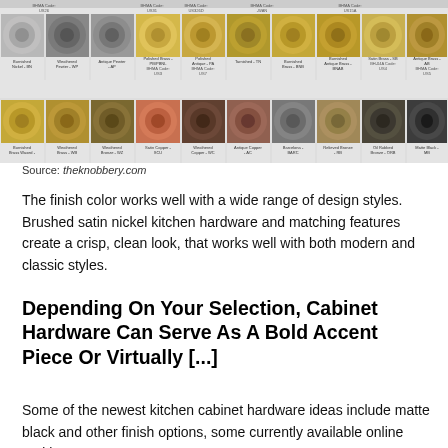[Figure (photo): Grid of cabinet hardware finish swatches showing circular pulls/knobs in various finishes: top row includes Burnished Nickel-BN, Weathered Pewter-WP, Antique Pewter-AP, Polished Brass-PB/PBNL, Polished Antique-PA, Tarnished-TN, Burnished Brass-BNB, Burnished Antique Brass-BNAB, Satin Brass-SB, Antique Brass-AB; bottom row includes Burnished Brass Waxed, Weathered Brass-WB, Weathered Bronze-WZ, Satin Copper-SCU, Weathered Copper-WC, Antique Copper-AC, Barcelona-BARC, Relieved Bronze-RB, Oil Rubbed Bronze-ORB, Matte Black-MB]
Source: theknobbery.com
The finish color works well with a wide range of design styles. Brushed satin nickel kitchen hardware and matching features create a crisp, clean look, that works well with both modern and classic styles.
Depending On Your Selection, Cabinet Hardware Can Serve As A Bold Accent Piece Or Virtually [...]
Some of the newest kitchen cabinet hardware ideas include matte black and other finish options, some currently available online and in